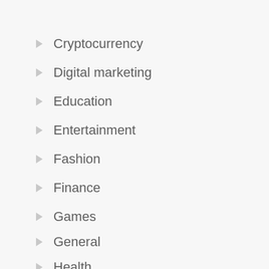Cryptocurrency
Digital marketing
Education
Entertainment
Fashion
Finance
Games
General
Health